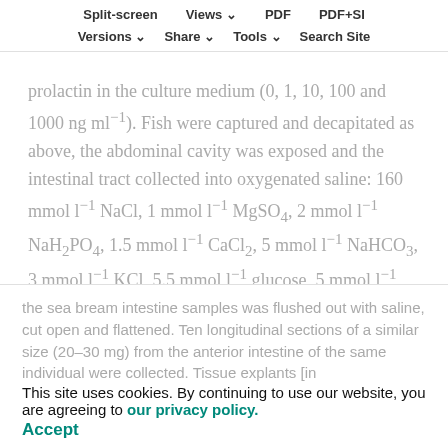Split-screen | Views | PDF | PDF+SI | Versions | Share | Tools | Search Site
prolactin in the culture medium (0, 1, 10, 100 and 1000 ng ml⁻¹). Fish were captured and decapitated as above, the abdominal cavity was exposed and the intestinal tract collected into oxygenated saline: 160 mmol l⁻¹ NaCl, 1 mmol l⁻¹ MgSO₄, 2 mmol l⁻¹ NaH₂PO₄, 1.5 mmol l⁻¹ CaCl₂, 5 mmol l⁻¹ NaHCO₃, 3 mmol l⁻¹ KCl, 5.5 mmol l⁻¹ glucose, 5 mmol l⁻¹ Hepes and 10 μl ml⁻¹ antibiotics (penicillin 10.000 IU ml⁻¹ + streptomycin 10.000 μg ml⁻¹, Sigma-Aldrich; pH 7.800; gassed with 0.3% CO₂ + 99.7% O₂). The anterior region of
This site uses cookies. By continuing to use our website, you are agreeing to our privacy policy. Accept